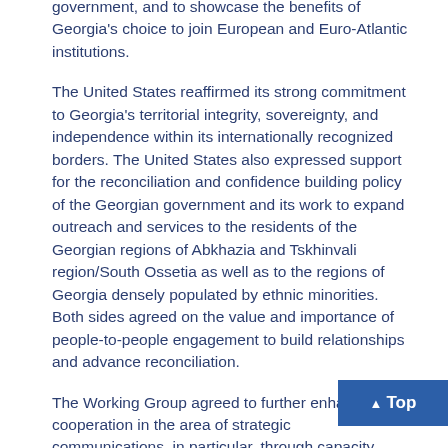government, and to showcase the benefits of Georgia's choice to join European and Euro-Atlantic institutions.
The United States reaffirmed its strong commitment to Georgia's territorial integrity, sovereignty, and independence within its internationally recognized borders. The United States also expressed support for the reconciliation and confidence building policy of the Georgian government and its work to expand outreach and services to the residents of the Georgian regions of Abkhazia and Tskhinvali region/South Ossetia as well as to the regions of Georgia densely populated by ethnic minorities. Both sides agreed on the value and importance of people-to-people engagement to build relationships and advance reconciliation.
The Working Group agreed to further enhance cooperation in the area of strategic communications, in particular, through capacity building, planning and implementing joint projects, as well as via providing technical and expert assistance with respect to strategic partnership priorities.